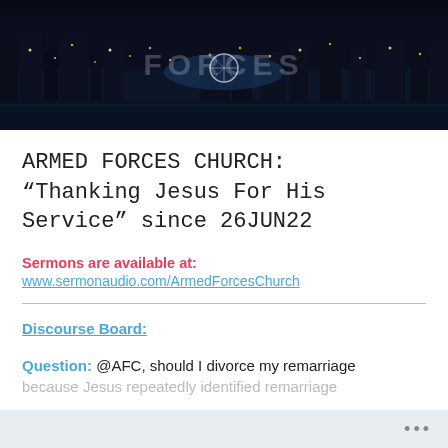[Figure (photo): Night cityscape photo showing a city waterfront with lights, a Ferris wheel, and the text 'FORCES' overlaid]
ARMED FORCES CHURCH: “Thanking Jesus For His Service” since 26JUN22
Sermons are available at: www.sermonaudio.com/ArmedForcesChurch
Discourse Board:
Question: @AFC, should I divorce my remarriage because Jesus repeatedly identified remarriage